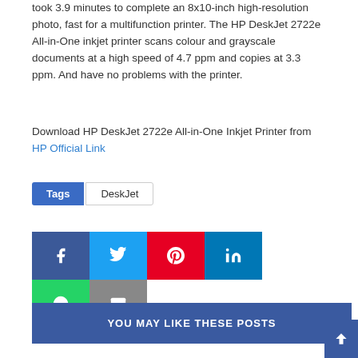took 3.9 minutes to complete an 8x10-inch high-resolution photo, fast for a multifunction printer. The HP DeskJet 2722e All-in-One inkjet printer scans colour and grayscale documents at a high speed of 4.7 ppm and copies at 3.3 ppm. And have no problems with the printer.
Download HP DeskJet 2722e All-in-One Inkjet Printer from HP Official Link
Tags  DeskJet
[Figure (other): Social sharing buttons: Facebook, Twitter, Pinterest, LinkedIn, WhatsApp, Email]
YOU MAY LIKE THESE POSTS